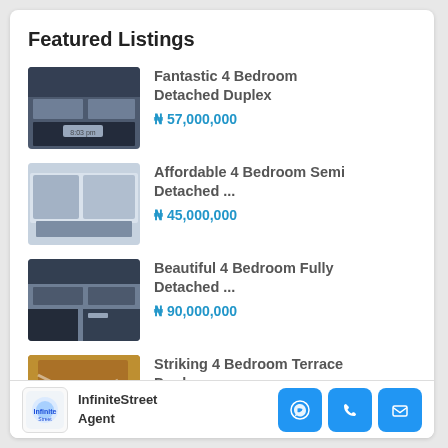Featured Listings
Fantastic 4 Bedroom Detached Duplex
₦ 57,000,000
Affordable 4 Bedroom Semi Detached ...
₦ 45,000,000
Beautiful 4 Bedroom Fully Detached ...
₦ 90,000,000
Striking 4 Bedroom Terrace Duplex
InfiniteStreet Agent